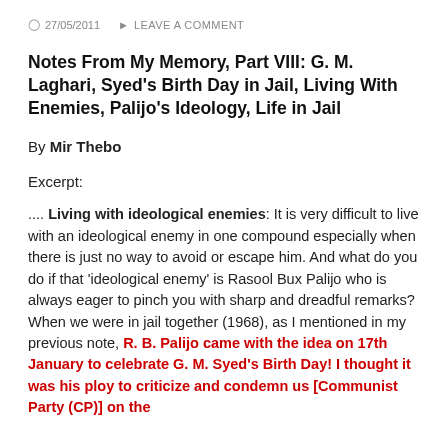27/05/2011   LEAVE A COMMENT
Notes From My Memory, Part VIII: G. M. Laghari, Syed's Birth Day in Jail, Living With Enemies, Palijo's Ideology, Life in Jail
By Mir Thebo
Excerpt:
.... Living with ideological enemies: It is very difficult to live with an ideological enemy in one compound especially when there is just no way to avoid or escape him. And what do you do if that 'ideological enemy' is Rasool Bux Palijo who is always eager to pinch you with sharp and dreadful remarks? When we were in jail together (1968), as I mentioned in my previous note, R. B. Palijo came with the idea on 17th January to celebrate G. M. Syed's Birth Day! I thought it was his ploy to criticize and condemn us [Communist Party (CP)] on the